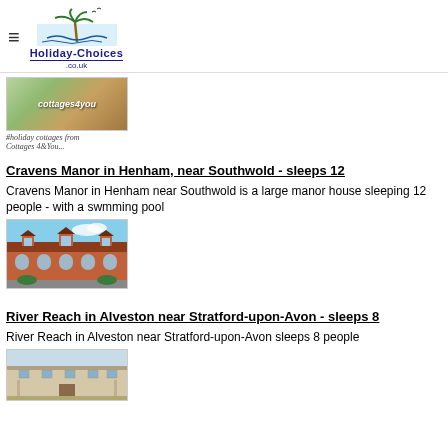Holiday-Choices.co.uk
[Figure (photo): Cottages4you advertisement banner showing a thatched cottage]
#holiday cottages from Cottages 4u You...
Cravens Manor in Henham, near Southwold - sleeps 12
Cravens Manor in Henham near Southwold is a large manor house sleeping 12 people - with a swmming pool
[Figure (photo): Photo of Cravens Manor, a large brick manor house with dormers]
River Reach in Alveston near Stratford-upon-Avon - sleeps 8
River Reach in Alveston near Stratford-upon-Avon sleeps 8 people
[Figure (photo): Photo of River Reach property near Stratford-upon-Avon]